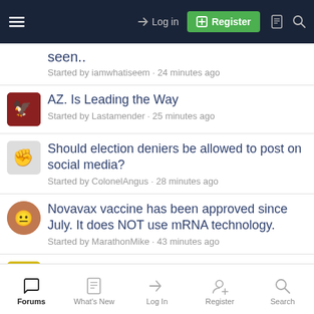Log in | Register
seen.. Started by iamwhatiseem · 24 minutes ago
AZ. Is Leading the Way Started by Lastamender · 25 minutes ago
Should election deniers be allowed to post on social media? Started by ColonelAngus · 28 minutes ago
Novavax vaccine has been approved since July. It does NOT use mRNA technology. Started by MarathonMike · 43 minutes ago
Planned outages in L.A. area
Forums | What's New | Log In | Register | Search